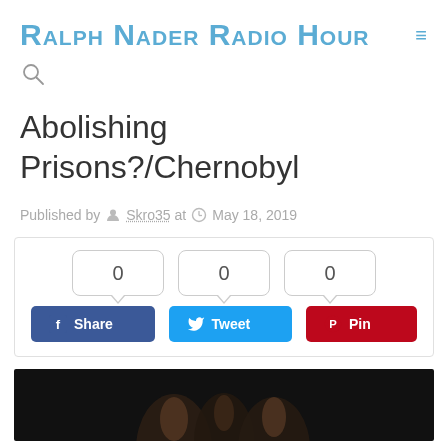Ralph Nader Radio Hour
Abolishing Prisons?/Chernobyl
Published by  Skro35 at  May 18, 2019
[Figure (infographic): Social share widget with three counter bubbles showing 0 each, and three buttons: Facebook Share, Twitter Tweet, Pinterest Pin]
[Figure (photo): Dark photograph showing the back/neck of a person against a black background]